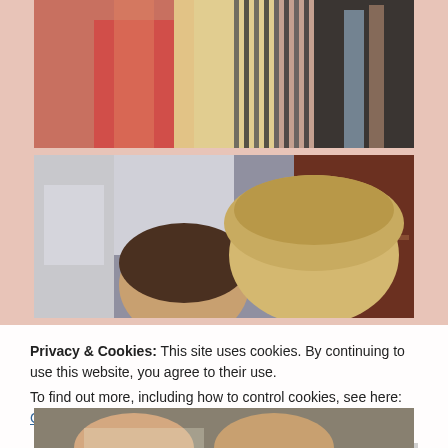[Figure (photo): Top photo showing colorful clothing/bags with striped fabric and lanyards visible, photographed at an angle from above]
[Figure (photo): Middle photo showing a selfie of two women with blonde hair taken indoors near a brick wall and wooden door]
Privacy & Cookies: This site uses cookies. By continuing to use this website, you agree to their use.
To find out more, including how to control cookies, see here: Cookie Policy
Close and accept
[Figure (photo): Bottom photo partially visible showing people smiling]